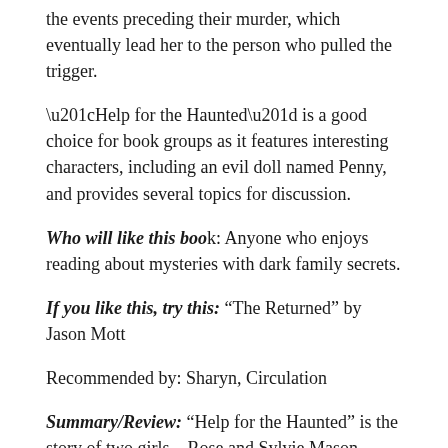the events preceding their murder, which eventually lead her to the person who pulled the trigger.
“Help for the Haunted” is a good choice for book groups as it features interesting characters, including an evil doll named Penny, and provides several topics for discussion.
Who will like this book: Anyone who enjoys reading about mysteries with dark family secrets.
If you like this, try this: “The Returned” by Jason Mott
Recommended by: Sharyn, Circulation
Summary/Review: “Help for the Haunted” is the story of two girls – Rose and Sylvie Mason – whose parents were helpers of the haunted (I kept thinking of the Warrens throughout). Sylvie is the “good one”, always responsible.  She plays counterpart to her older sister Rose, whose bad temper